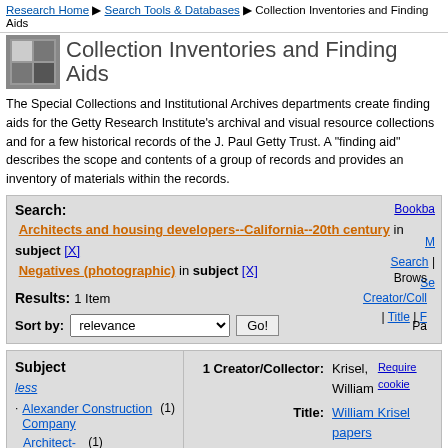Research Home ▶ Search Tools & Databases ▶ Collection Inventories and Finding Aids
Collection Inventories and Finding Aids
The Special Collections and Institutional Archives departments create finding aids for the Getty Research Institute's archival and visual resource collections and for a few historical records of the J. Paul Getty Trust. A "finding aid" describes the scope and contents of a group of records and provides an inventory of materials within the records.
Search: Architects and housing developers--California--20th century in subject [X] Negatives (photographic) in subject [X] Results: 1 Item Sort by: relevance Go!
| Subject | 1 Creator/Collector: | Title: | Dates: |
| --- | --- | --- | --- |
| less | Krisel, William | William Krisel papers | 1935-2014 |
| Alexander Construction Company (1) |  |  |  |
| Architect-designed... (1) |  |  |  |